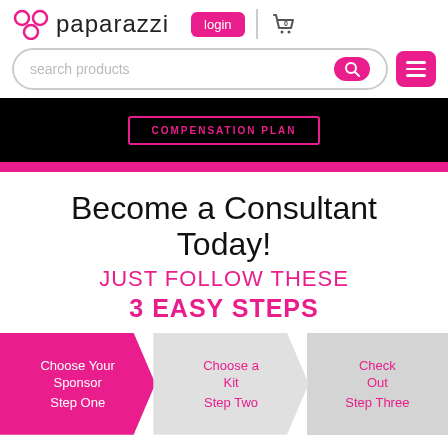paparazzi | login | 0
[Figure (screenshot): Paparazzi website header with logo, login button, cart icon, search bar and menu button, black banner with COMPENSATION PLAN button, pink accent bar]
Become a Consultant Today!
JUST FOLLOW THESE 3 EASY STEPS
Choose Your Sponsor Step One
Choose a Kit Step Two
Check Out Step Three